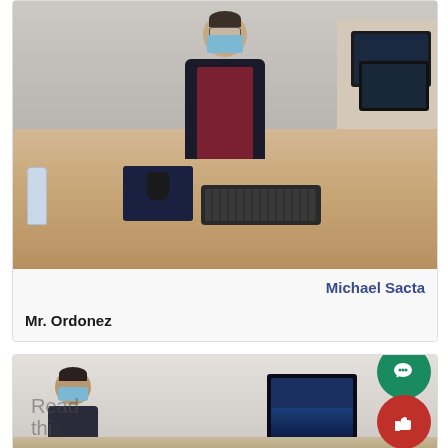[Figure (photo): A person wearing a blue surgical mask and dark jacket sitting at a light wooden office desk with a keyboard, mouse and mousepad, water bottle on the left, and laptops/monitors visible in the background and to the right.]
Michael Sacta
Mr. Ordonez
[Figure (photo): A partial photo of an office scene showing a person wearing a mask seated at a desk with a monitor, partially cut off. UI buttons for chat and like are overlaid. Text 'Read this' is partially visible.]